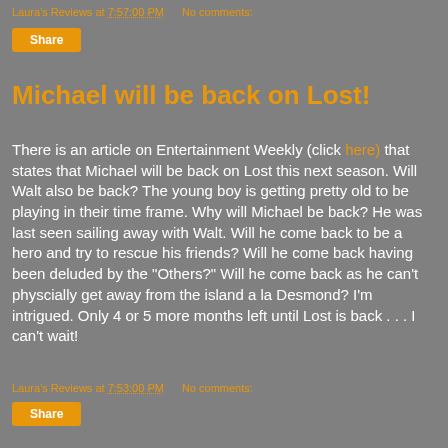Laura's Reviews at 7:57:00 PM   No comments:
Share
Michael will be back on Lost!
There is an article on Entertainment Weekly (click here) that states that Michael will be back on Lost this next season. Will Walt also be back? The young boy is getting pretty old to be playing in their time frame. Why will Michael be back? He was last seen sailing away with Walt. Will he come back to be a hero and try to rescue his friends? Will he come back having been deluded by the "Others?" Will he come back as he can't physcially get away from the island a la Desmond? I'm intrigued. Only 4 or 5 more months left until Lost is back . . . I can't wait!
Laura's Reviews at 7:53:00 PM   No comments:
Share